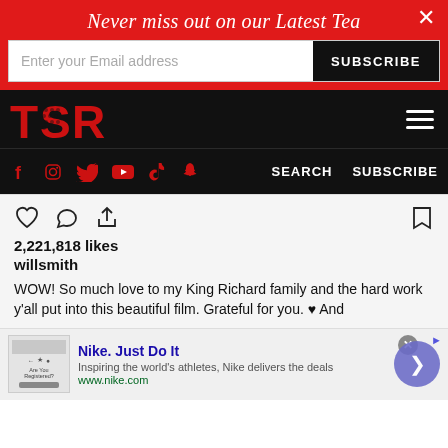Never miss out on our Latest Tea
Enter your Email address | SUBSCRIBE
[Figure (logo): TSR logo in red on black background with hamburger menu]
[Figure (infographic): Social media icons bar: Facebook, Instagram, Twitter, YouTube, TikTok, Snapchat with SEARCH and SUBSCRIBE links]
2,221,818 likes
willsmith
WOW! So much love to my King Richard family and the hard work y'all put into this beautiful film. Grateful for you. ♥ And
[Figure (screenshot): Nike advertisement: Nike. Just Do It. Inspiring the world's athletes, Nike delivers the deals. www.nike.com]